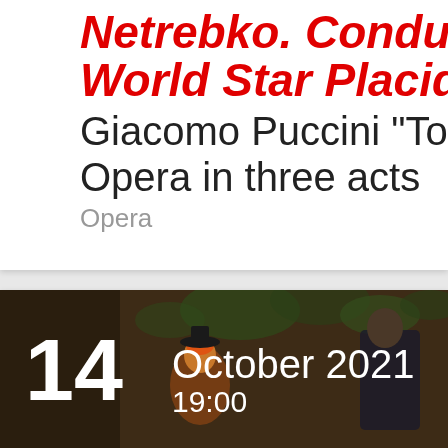Netrebko. Conducted World Star Placido Do...
Giacomo Puccini "Tosc...
Opera in three acts
Opera
[Figure (photo): Opera performance scene with performers in costume, date overlay showing 14 October 2021 19:00]